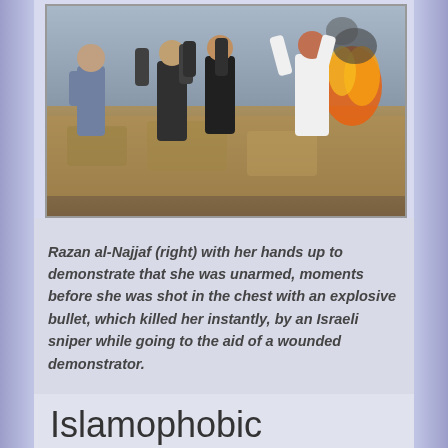[Figure (photo): People in a field with hands raised, fire and smoke visible in background. A person in a white coat (Razan al-Najjaf) is visible on the right with hands up.]
Razan al-Najjaf (right) with her hands up to demonstrate that she was unarmed, moments before she was shot in the chest with an explosive bullet, which killed her instantly, by an Israeli sniper while going to the aid of a wounded demonstrator.
Islamophobic Zionist/DFLA alliance target Al Quds march in support of the Palestinian nation on